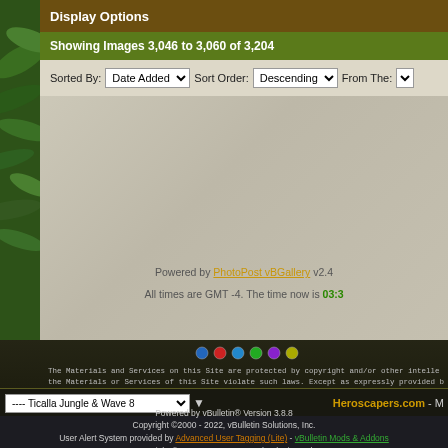Display Options
Showing Images 3,046 to 3,060 of 3,204
Sorted By: Date Added  Sort Order: Descending  From The: B
Powered by PhotoPost vBGallery v2.4
All times are GMT -4. The time now is 03:3
The Materials and Services on this Site are protected by copyright and/or other intelle... the Materials or Services of this Site violate such laws. Except as expressly provided h... express or implied right to you under any patents, copyrights, trademarks, or trade s... and Services displayed on or provided by this site. No portion of the information or do... form or by any means without the prior written permission of the Site Adminsitr...
Copyright © 2008, Heroscapers.com
---- Ticalla Jungle & Wave 8
Heroscapers.com - M
Powered by vBulletin® Version 3.8.8
Copyright ©2000 - 2022, vBulletin Solutions, Inc.
User Alert System provided by Advanced User Tagging (Lite) - vBulletin Mods & Addons
Copyright © 2022 DragonByte Technologies Ltd.